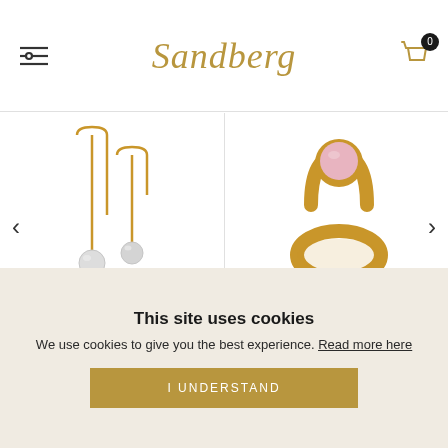Sandberg
[Figure (photo): Gold threader earrings with pearl drops on white background]
Rio Pearl
[Figure (photo): Gold ring with pink rose quartz stone on white background]
Rio
This site uses cookies
We use cookies to give you the best experience. Read more here
I UNDERSTAND